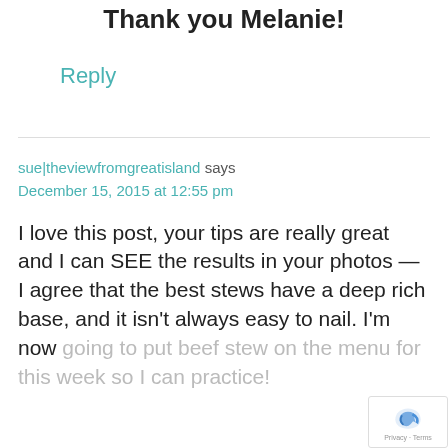Thank you Melanie!
Reply
sue|theviewfromgreatisland says
December 15, 2015 at 12:55 pm
I love this post, your tips are really great and I can SEE the results in your photos — I agree that the best stews have a deep rich base, and it isn't always easy to nail. I'm now going to put beef stew on the menu for this week so I can practice!